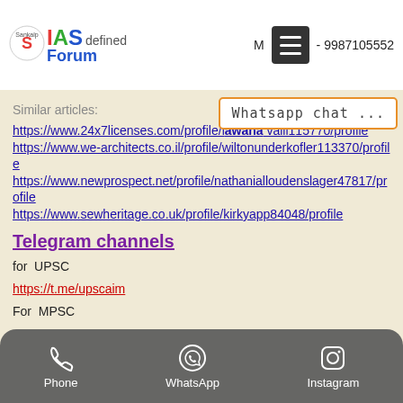IAS Forum - M... - 9987105552
Whatsapp chat ...
Similar articles:
https://www.24x7licenses.com/profile/lawana valli115770/profile
https://www.we-architects.co.il/profile/wiltonunderkofler113370/profile
https://www.newprospect.net/profile/nathanialloudenslager47817/profile
https://www.sewheritage.co.uk/profile/kirkyapp84048/profile
Telegram channels
for UPSC
https://t.me/upscaim
For MPSC
https://t.me/examforum
For Bank
https://t...
Phone | WhatsApp | Instagram